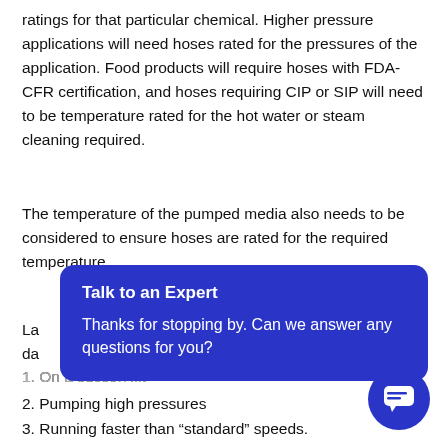ratings for that particular chemical. Higher pressure applications will need hoses rated for the pressures of the application. Food products will require hoses with FDA-CFR certification, and hoses requiring CIP or SIP will need to be temperature rated for the hot water or steam cleaning required.
The temperature of the pumped media also needs to be considered to ensure hoses are rated for the required temperature.
La... da...
[Figure (other): Blue chat overlay box with title 'Talk to an Expert' and body text 'Thanks for stopping by. Can we answer any questions for you?']
1. On a suction lift
2. Pumping high pressures
3. Running faster than “standard” speeds.